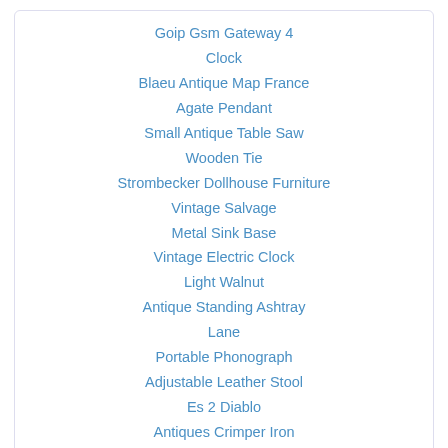Goip Gsm Gateway 4
Clock
Blaeu Antique Map France
Agate Pendant
Small Antique Table Saw
Wooden Tie
Strombecker Dollhouse Furniture
Vintage Salvage
Metal Sink Base
Vintage Electric Clock
Light Walnut
Antique Standing Ashtray
Lane
Portable Phonograph
Adjustable Leather Stool
Es 2 Diablo
Antiques Crimper Iron
Related Jacobean Buffet
Jacobean Antique
Jacobean Arnold